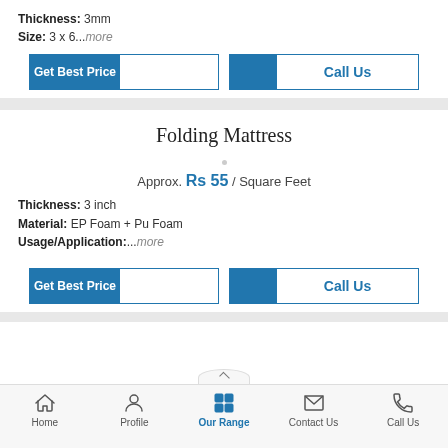Thickness: 3mm
Size: 3 x 6...more
[Figure (screenshot): Get Best Price and Call Us buttons - top section]
Folding Mattress
Approx. Rs 55 / Square Feet
Thickness: 3 inch
Material: EP Foam + Pu Foam
Usage/Application:...more
[Figure (screenshot): Get Best Price and Call Us buttons - bottom section]
Home | Profile | Our Range | Contact Us | Call Us